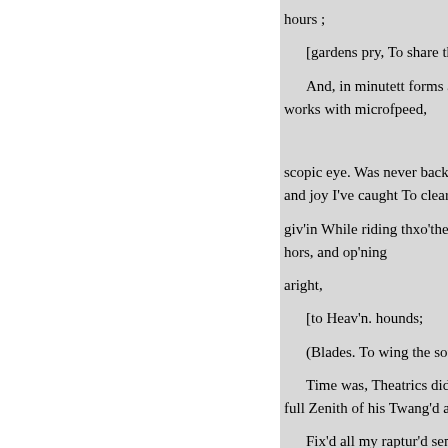hours ; [gardens pry, To share the Fox And, in minutett forms and thu works with microfpeed, scopic eye. Was never backward and joy I've caught To clear the c giv'in While riding thxo'the Need hors, and op'ning aright, [to Heav'n. hounds; (Blades. To wing the soul from Time was, Theatrics did me m full Zenith of his Twang'd and re Fix'd all my raptur'd senses to for long ev'ning Loud echo'd, the hours. futinds. Oh! grand it was to fee, to feel paifions raging For sword to swo